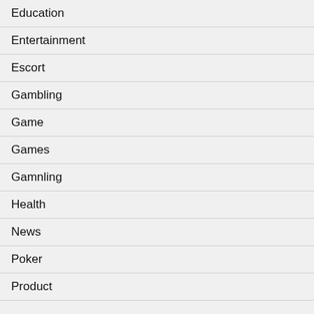Education
Entertainment
Escort
Gambling
Game
Games
Gamnling
Health
News
Poker
Product